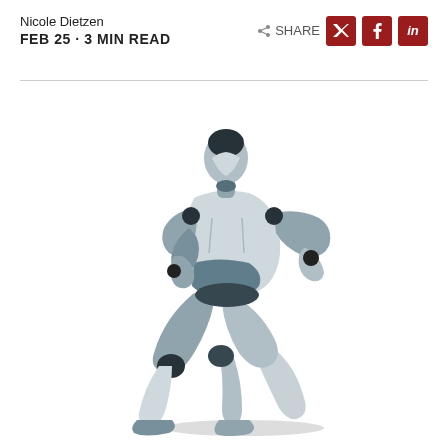Nicole Dietzen
FEB 25 · 3 MIN READ
[Figure (illustration): A robot figure in a 'The Thinker' pose — seated, leaning forward, elbow resting on knee with hand near chin. The robot is rendered in light blue-grey and dark grey tones with segmented mechanical body parts.]